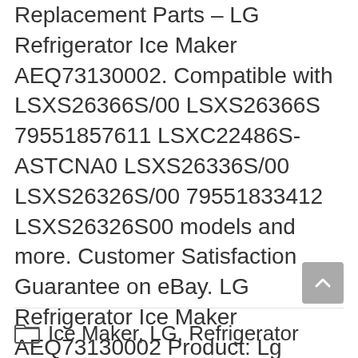Replacement Parts – LG Refrigerator Ice Maker AEQ73130002. Compatible with LSXS26366S/00 LSXS26366S 79551857611 LSXC22486S-ASTCNA0 LSXS26336S/00 LSXS26326S/00 79551833412 LSXS26326S00 models and more. Customer Satisfaction Guarantee on eBay. LG Refrigerator Ice Maker AEQ73130002 Product: Lg AEQ73130002 Refrigerator Ice Maker Assembly Genuine OEM part Part No: AEQ73130002 Replaces Parts: AEQ73130002 4505726 AP6233668 PS12078379 … Read more
Ice Maker, LG, Refrigerator